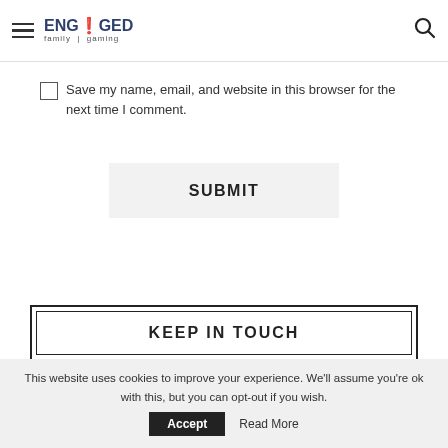ENGAGED Family Gaming — navigation header with hamburger menu and search icon
Save my name, email, and website in this browser for the next time I comment.
SUBMIT
KEEP IN TOUCH
FACEBOOK
TWITTER
This website uses cookies to improve your experience. We'll assume you're ok with this, but you can opt-out if you wish. Accept Read More